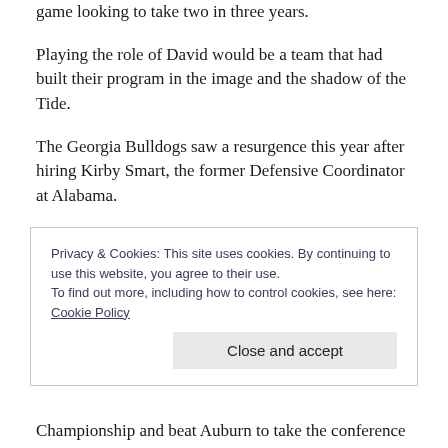game looking to take two in three years.
Playing the role of David would be a team that had built their program in the image and the shadow of the Tide.
The Georgia Bulldogs saw a resurgence this year after hiring Kirby Smart, the former Defensive Coordinator at Alabama.
Smart went about installing a similar defence that the Tide had but also found an offence along with his improved defence.
Privacy & Cookies: This site uses cookies. By continuing to use this website, you agree to their use.
To find out more, including how to control cookies, see here: Cookie Policy
Close and accept
Championship and beat Auburn to take the conference